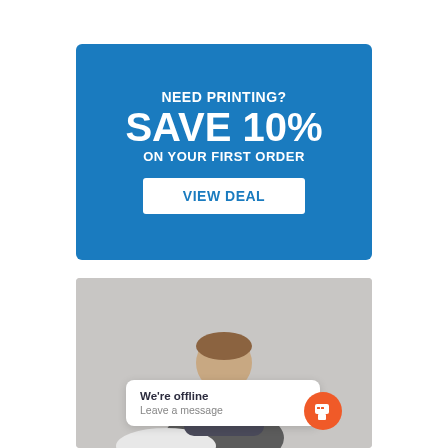[Figure (infographic): Blue advertisement banner reading NEED PRINTING? SAVE 10% ON YOUR FIRST ORDER with a white VIEW DEAL button]
[Figure (photo): Photo of a person at a desk, partially visible, with a chat widget overlay showing We're offline / Leave a message and an orange chat button]